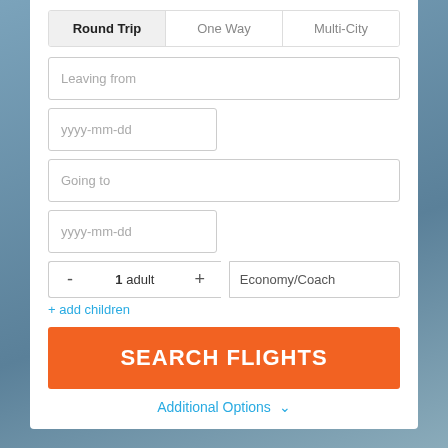[Figure (screenshot): Flight search form UI with Round Trip/One Way/Multi-City tabs, departure and destination input fields with date pickers, passenger count selector, cabin class dropdown, Search Flights button, and Additional Options link.]
Round Trip
One Way
Multi-City
Leaving from
yyyy-mm-dd
Going to
yyyy-mm-dd
- 1 adult + Economy/Coach
+ add children
SEARCH FLIGHTS
Additional Options